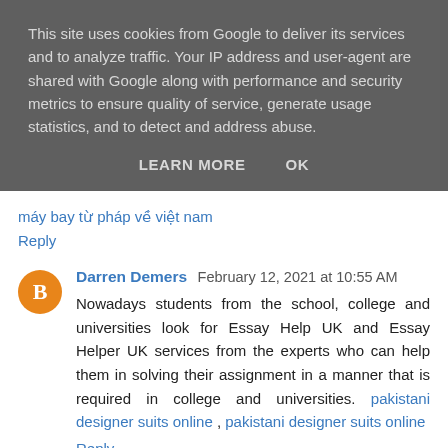This site uses cookies from Google to deliver its services and to analyze traffic. Your IP address and user-agent are shared with Google along with performance and security metrics to ensure quality of service, generate usage statistics, and to detect and address abuse.
LEARN MORE    OK
máy bay từ pháp về việt nam
Reply
Darren Demers  February 12, 2021 at 10:55 AM
Nowadays students from the school, college and universities look for Essay Help UK and Essay Helper UK services from the experts who can help them in solving their assignment in a manner that is required in college and universities. pakistani designer suits online , pakistani designer suits online
Reply